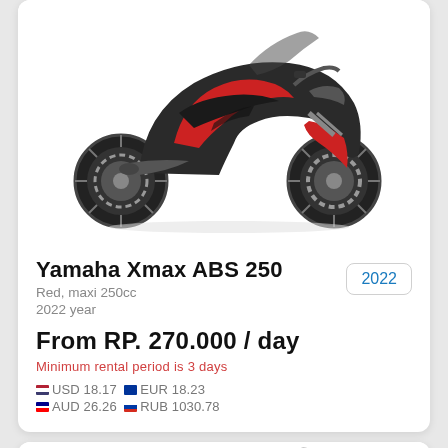[Figure (photo): Yamaha Xmax ABS 250 motorcycle in red and black color, side view angled left, shown on white background]
Yamaha Xmax ABS 250
Red, maxi 250cc
2022 year
2022
From RP. 270.000 / day
Minimum rental period is 3 days
🇺🇸USD 18.17 🇪🇺EUR 18.23
🇦🇺AUD 26.26 🇷🇺RUB 1030.78
[Figure (photo): Another motorcycle (red and black scooter) partially visible, showing front handlebar, windscreen and body, white background]